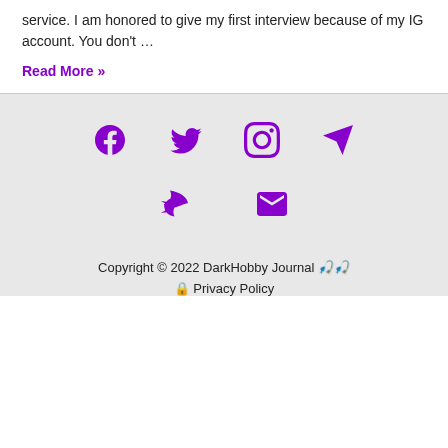service. I am honored to give my first interview because of my IG account. You don't …
Read More »
[Figure (infographic): Footer with social media icons: Facebook, Twitter, Instagram, Telegram, Fish (Fishbrain?), Email envelope, all in purple on light grey background. Copyright © 2022 DarkHobby Journal and Privacy Policy text.]
Copyright © 2022 DarkHobby Journal 🎣
🔒 Privacy Policy